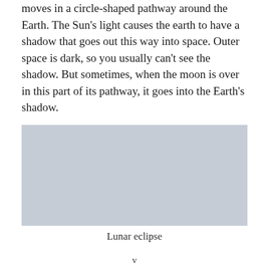moves in a circle-shaped pathway around the Earth. The Sun's light causes the earth to have a shadow that goes out this way into space. Outer space is dark, so you usually can't see the shadow. But sometimes, when the moon is over in this part of its pathway, it goes into the Earth's shadow.
[Figure (photo): A rectangular placeholder image with a light blue-grey background representing a lunar eclipse photograph.]
Lunar eclipse
v